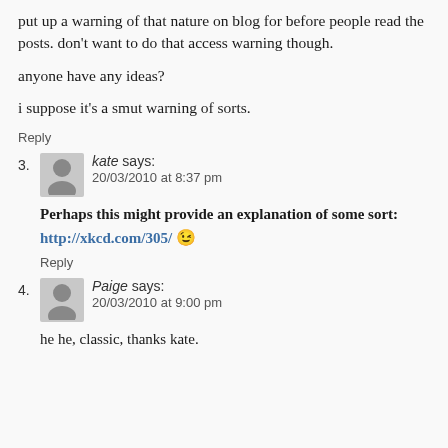put up a warning of that nature on blog for before people read the posts. don't want to do that access warning though.
anyone have any ideas?
i suppose it's a smut warning of sorts.
Reply
3. kate says: 20/03/2010 at 8:37 pm
Perhaps this might provide an explanation of some sort: http://xkcd.com/305/ 😉
Reply
4. Paige says: 20/03/2010 at 9:00 pm
he he, classic, thanks kate.